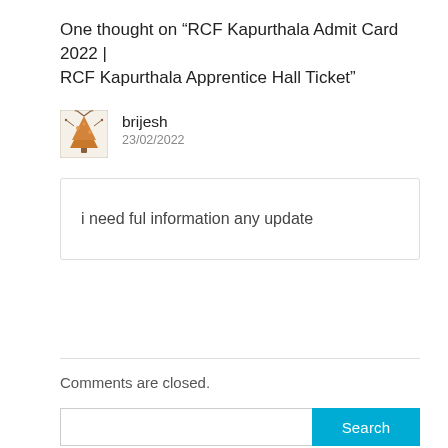One thought on “RCF Kapurthala Admit Card 2022 | RCF Kapurthala Apprentice Hall Ticket”
brijesh
23/02/2022
i need ful information any update
Comments are closed.